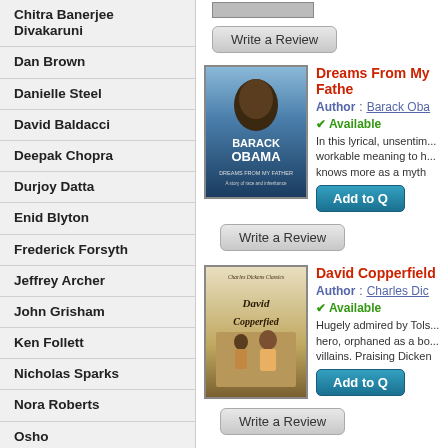Chitra Banerjee Divakaruni
Dan Brown
Danielle Steel
David Baldacci
Deepak Chopra
Durjoy Datta
Enid Blyton
Frederick Forsyth
Jeffrey Archer
John Grisham
Ken Follett
Nicholas Sparks
Nora Roberts
Osho
Paulo Coelho
Robin Cook
Robin Sharma
[Figure (illustration): Book cover: Dreams From My Father by Barack Obama, blue tones with portrait]
Dreams From My Father
Author : Barack Obama
Available
In this lyrical, unsentimental... workable meaning to h... knows more as a myth...
[Figure (illustration): Book cover: David Copperfield by Charles Dickens, illustrated cover with title in script]
David Copperfield
Author : Charles Dickens
Available
Hugely admired by Tolstoy... hero, orphaned as a bo... villains. Praising Dicken...